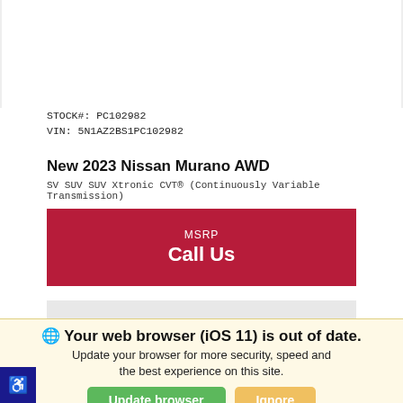STOCK#: PC102982
VIN: 5N1AZ2BS1PC102982
New 2023 Nissan Murano AWD
SV SUV SUV Xtronic CVT® (Continuously Variable Transmission)
MSRP
Call Us
☎ Call: (815) 324-8094
*First Name
*Last Name
*Email
Phone
Get Our Best Price
🌐 Your web browser (iOS 11) is out of date. Update your browser for more security, speed and the best experience on this site.
Update browser
Ignore